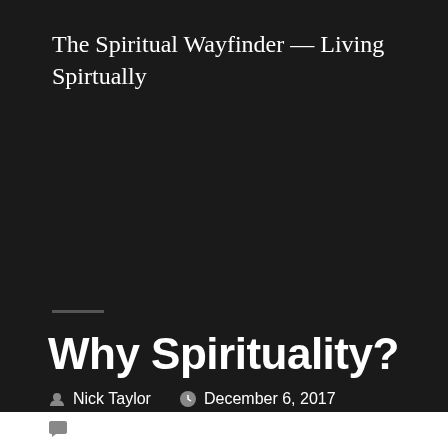The Spiritual Wayfinder — Living Spirtually
Why Spirituality?
Nick Taylor   December 6, 2017
Leave a comment